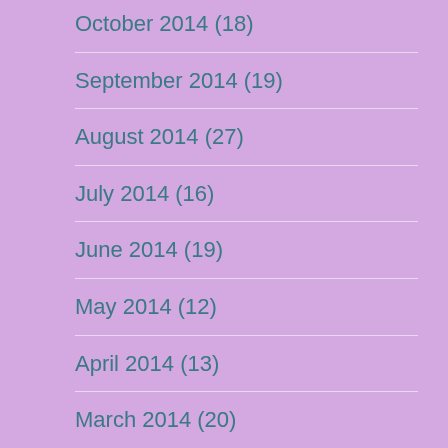October 2014 (18)
September 2014 (19)
August 2014 (27)
July 2014 (16)
June 2014 (19)
May 2014 (12)
April 2014 (13)
March 2014 (20)
February 2014 (???)